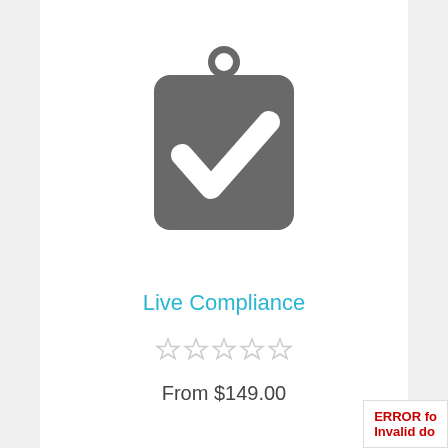[Figure (illustration): Clipboard icon with a checkmark, dark gray color, centered on white background]
Live Compliance
[Figure (other): Five empty star rating icons in light gray]
From $149.00
ERROR fo... Invalid do...